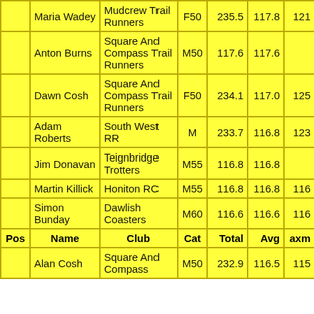| Pos | Name | Club | Cat | Total | Avg | axm |
| --- | --- | --- | --- | --- | --- | --- |
|  | Maria Wadey | Mudcrew Trail Runners | F50 | 235.5 | 117.8 | 121 |
|  | Anton Burns | Square And Compass Trail Runners | M50 | 117.6 | 117.6 |  |
|  | Dawn Cosh | Square And Compass Trail Runners | F50 | 234.1 | 117.0 | 125 |
|  | Adam Roberts | South West RR | M | 233.7 | 116.8 | 123 |
|  | Jim Donavan | Teignbridge Trotters | M55 | 116.8 | 116.8 |  |
|  | Martin Killick | Honiton RC | M55 | 116.8 | 116.8 | 116 |
|  | Simon Bunday | Dawlish Coasters | M60 | 116.6 | 116.6 | 116 |
| Pos | Name | Club | Cat | Total | Avg | axm |
|  | Alan Cosh | Square And Compass | M50 | 232.9 | 116.5 | 115 |